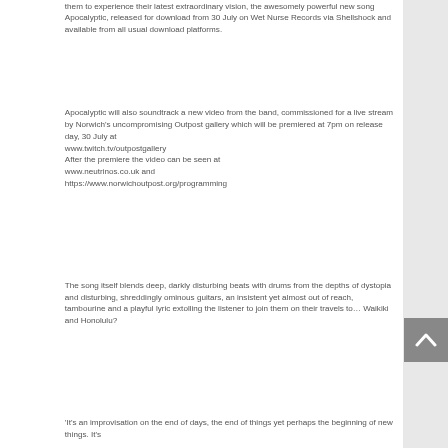them to experience their latest extraordinary vision, the awesomely powerful new song Apocalyptic, released for download from 30 July on Wet Nurse Records via Shellshock and available from all usual download platforms.
Apocalyptic will also soundtrack a new video from the band, commissioned for a live stream by Norwich's uncompromising Outpost gallery which will be premiered at 7pm on release day, 30 July at www.twitch.tv/outpostgallery
After the premiere the video can be seen at www.neutrinos.co.uk and https://www.norwichoutpost.org/programming
The song itself blends deep, darkly disturbing beats with drums from the depths of dystopia and disturbing, shreddingly ominous guitars, an insistent yet almost out of reach, tambourine and a playful lyric extolling the listener to join them on their travels to… Waikiki and Honolulu?
'It's an improvisation on the end of days, the end of things yet perhaps the beginning of new things. It's